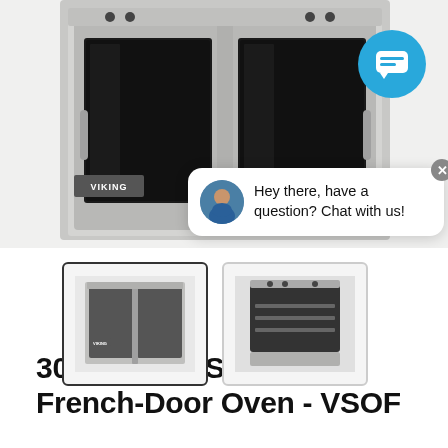[Figure (photo): Viking 30-inch Electric Single French-Door Oven, stainless steel, shown from the front with french doors and glass windows. Viking logo visible on lower left of oven face. A live chat bubble overlay shows a support agent avatar and text 'Hey there, have a question? Chat with us!' A blue circular chat icon is visible in the upper right corner.]
[Figure (photo): Thumbnail 1: Front view of Viking Electric Single French-Door Oven, stainless steel finish, selected state with dark border.]
[Figure (photo): Thumbnail 2: Top/front angled view of Viking oven with doors open showing interior racks.]
30" Electric Single French-Door Oven - VSOF